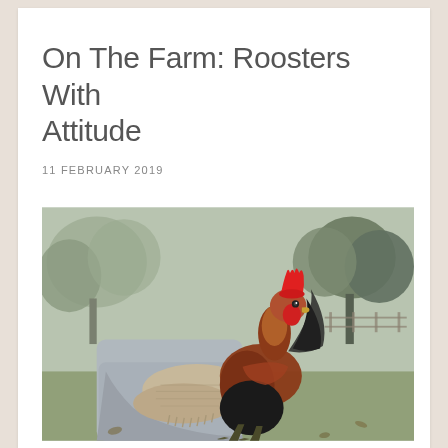On The Farm: Roosters With Attitude
11 FEBRUARY 2019
[Figure (photo): A person wearing work gloves holding a rooster with a bright red comb, with blurred trees and a farm fence in the background.]